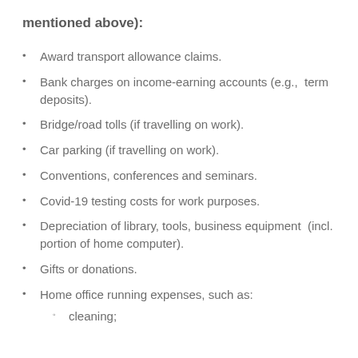mentioned above):
Award transport allowance claims.
Bank charges on income-earning accounts (e.g., term deposits).
Bridge/road tolls (if travelling on work).
Car parking (if travelling on work).
Conventions, conferences and seminars.
Covid-19 testing costs for work purposes.
Depreciation of library, tools, business equipment (incl. portion of home computer).
Gifts or donations.
Home office running expenses, such as:
cleaning;